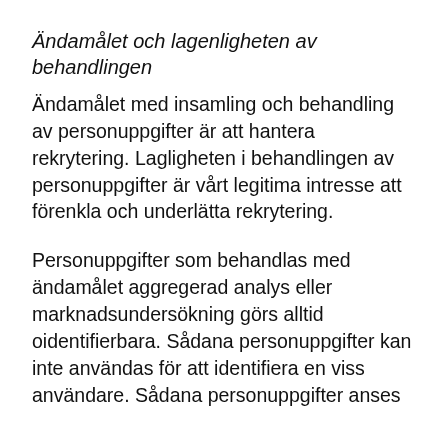Ändamålet och lagenligheten av behandlingen
Ändamålet med insamling och behandling av personuppgifter är att hantera rekrytering. Lagligheten i behandlingen av personuppgifter är vårt legitima intresse att förenkla och underlätta rekrytering.
Personuppgifter som behandlas med ändamålet aggregerad analys eller marknadsundersökning görs alltid oidentifierbara. Sådana personuppgifter kan inte användas för att identifiera en viss användare. Sådana personuppgifter anses